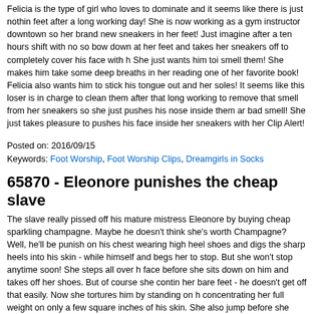Felicia is the type of girl who loves to dominate and it seems like there is just nothing better for her than to make a guy worship her feet after a long working day! She is now working as a gym instructor downtown so she's been wearing her brand new sneakers in her feet! Just imagine after a ten hours shift with no socks! Her slave bow down at her feet and takes her sneakers off to completely cover his face with her stinky bare feet! She just wants him toi smell them! She makes him take some deep breaths in her feet while she is reading one of her favorite book! Felicia also wants him to stick his tongue out and to lick the sweat off her soles! It seems like this loser is in charge to clean them after that long working day! He also needs to remove that smell from her sneakers so she just pushes his nose inside them and makes him inhale that bad smell! She just takes pleasure to pushes his face inside her sneakers with her feet! Hot New Sneaker-Feet Clip Alert!
Posted on: 2016/09/15
Keywords: Foot Worship, Foot Worship Clips, Dreamgirls in Socks
65870 - Eleonore punishes the cheap slave
The slave really pissed off his mature mistress Eleonore by buying cheap sparkling wine instead of champagne. Maybe he doesn't think she's worth Champagne? Well, he'll be punished! Eleonore stands on his chest wearing high heel shoes and digs the sharp heels into his skin - while he screams in pain himself and begs her to stop. But she won't stop anytime soon! She steps all over him, even on his face before she sits down on him and takes off her shoes. But of course she continues trampling him with her bare feet - he doesn't get off that easily. Now she tortures him by standing on his throat and concentrating her full weight on only a few square inches of his skin. She also jumps on him a few times before she gives him a rest - for the moment!
Posted on: 2016/09/15
Keywords: Trampling, Trampling Clips, Trampling Girls
87912 - My cleaning slave girl gets ruthlessly fucked
It's a shame! One needs to control EVERYTHING! I just expected my hot and sexy cleaning slave to finish her cleaning job, but what the fuck did she do instead? The horny little bitch...